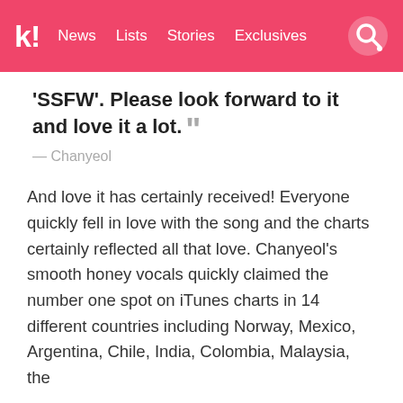k! News Lists Stories Exclusives
'SSFW'. Please look forward to it and love it a lot.
— Chanyeol
And love it has certainly received! Everyone quickly fell in love with the song and the charts certainly reflected all that love. Chanyeol's smooth honey vocals quickly claimed the number one spot on iTunes charts in 14 different countries including Norway, Mexico, Argentina, Chile, India, Colombia, Malaysia, the